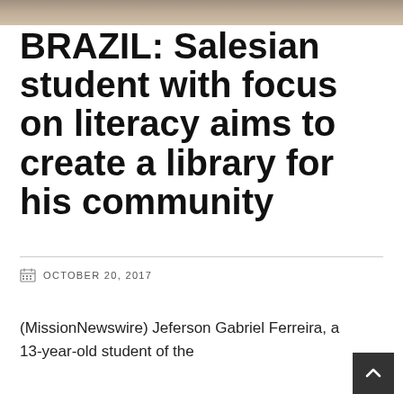[Figure (photo): Top portion of a photo showing a person, cropped at the top of the page]
BRAZIL: Salesian student with focus on literacy aims to create a library for his community
OCTOBER 20, 2017
(MissionNewswire) Jeferson Gabriel Ferreira, a 13-year-old student of the